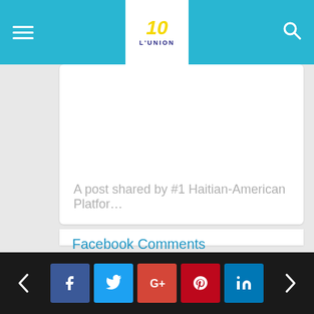L'UNION SUITE - Navigation bar with hamburger menu, logo, and search icon
A post shared by #1 Haitian-American Platfor...
Facebook Comments
Navigation arrows and social share buttons: Facebook, Twitter, Google+, Pinterest, LinkedIn